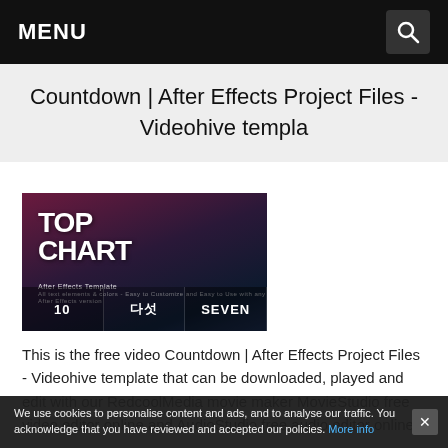MENU
Countdown | After Effects Project Files - Videohive templa
[Figure (screenshot): Thumbnail image showing 'TOP CHART After Effects Template' with bottom strip showing '10', '다섯', 'SEVEN' in three panels]
This is the free video Countdown | After Effects Project Files - Videohive template that can be downloaded, played and edit with our RedcoolMedia movie maker MovieStudio free video editor online and AudioStudio free audio editor online
We use cookies to personalise content and ads, and to analyse our traffic. You acknowledge that you have reviewed and accepted our policies. More info